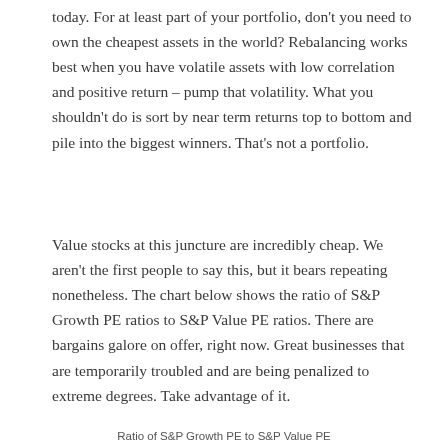today. For at least part of your portfolio, don't you need to own the cheapest assets in the world? Rebalancing works best when you have volatile assets with low correlation and positive return – pump that volatility. What you shouldn't do is sort by near term returns top to bottom and pile into the biggest winners. That's not a portfolio.
Value stocks at this juncture are incredibly cheap. We aren't the first people to say this, but it bears repeating nonetheless. The chart below shows the ratio of S&P Growth PE ratios to S&P Value PE ratios. There are bargains galore on offer, right now. Great businesses that are temporarily troubled and are being penalized to extreme degrees. Take advantage of it.
Ratio of S&P Growth PE to S&P Value PE